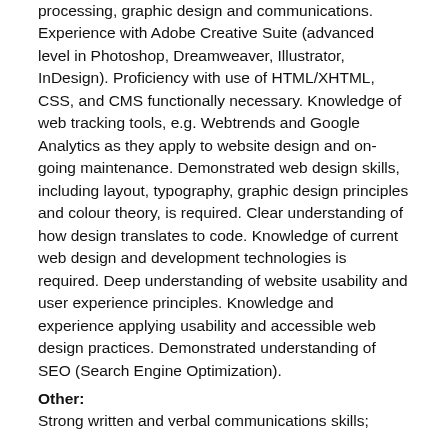processing, graphic design and communications. Experience with Adobe Creative Suite (advanced level in Photoshop, Dreamweaver, Illustrator, InDesign). Proficiency with use of HTML/XHTML, CSS, and CMS functionally necessary. Knowledge of web tracking tools, e.g. Webtrends and Google Analytics as they apply to website design and on-going maintenance. Demonstrated web design skills, including layout, typography, graphic design principles and colour theory, is required. Clear understanding of how design translates to code. Knowledge of current web design and development technologies is required. Deep understanding of website usability and user experience principles. Knowledge and experience applying usability and accessible web design practices. Demonstrated understanding of SEO (Search Engine Optimization).
Other:
Strong written and verbal communications skills;